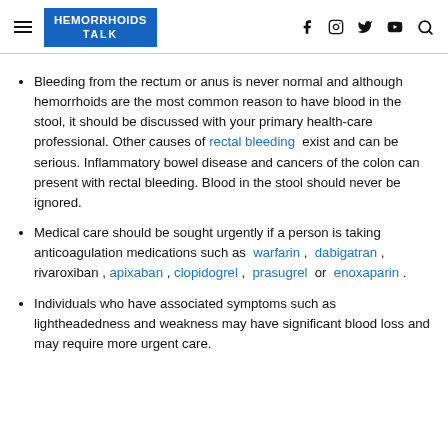HEMORRHOIDS TALK
Bleeding from the rectum or anus is never normal and although hemorrhoids are the most common reason to have blood in the stool, it should be discussed with your primary health-care professional. Other causes of rectal bleeding exist and can be serious. Inflammatory bowel disease and cancers of the colon can present with rectal bleeding. Blood in the stool should never be ignored.
Medical care should be sought urgently if a person is taking anticoagulation medications such as warfarin , dabigatran , rivaroxiban , apixaban , clopidogrel , prasugrel or enoxaparin .
Individuals who have associated symptoms such as lightheadedness and weakness may have significant blood loss and may require more urgent care.
...